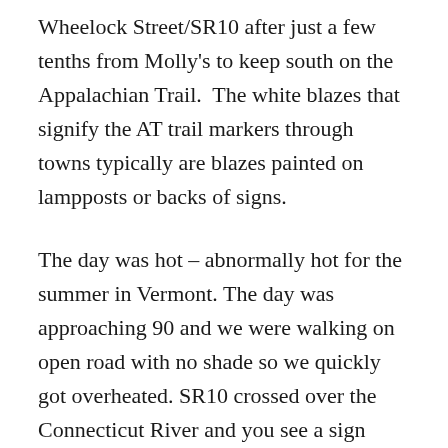Wheelock Street/SR10 after just a few tenths from Molly's to keep south on the Appalachian Trail. The white blazes that signify the AT trail markers through towns typically are blazes painted on lampposts or backs of signs.
The day was hot – abnormally hot for the summer in Vermont. The day was approaching 90 and we were walking on open road with no shade so we quickly got overheated. SR10 crossed over the Connecticut River and you see a sign halfway across the bridge that signifies the state border between New Hampshire and Vermont at .8 miles. With more road walking, we reached Norwich, VT and began to climb up a steeper section of sidewalk. With the sun beating down and the uphill climb, it was quite unbearable. At 2.7 miles, we rested at a gazebo in